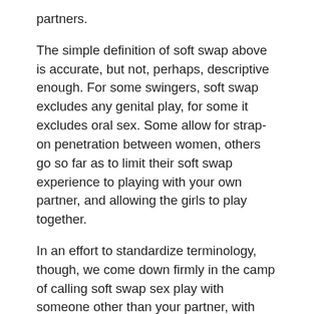partners.
The simple definition of soft swap above is accurate, but not, perhaps, descriptive enough. For some swingers, soft swap excludes any genital play, for some it excludes oral sex. Some allow for strap-on penetration between women, others go so far as to limit their soft swap experience to playing with your own partner, and allowing the girls to play together.
In an effort to standardize terminology, though, we come down firmly in the camp of calling soft swap sex play with someone other than your partner, with your partner's involvement or approval, that can include anything from hand jobs and fingering, blowjobs, cunnilingus, and rimjobs, but stops short of a penis going inside a vagina.